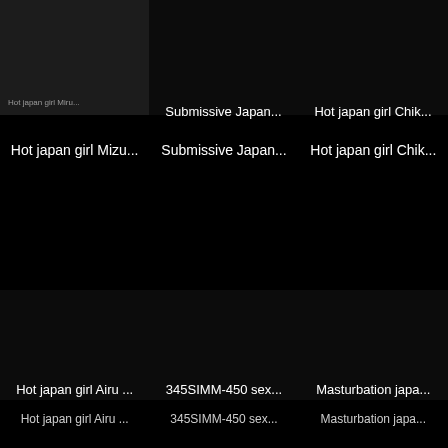[Figure (screenshot): Dark thumbnail image of Hot japan girl Mizu...]
Hot japan girl Mizu...
Hot japan girl Mizu...
[Figure (screenshot): Dark thumbnail for Submissive Japan...]
Submissive Japan...
Submissive Japan...
[Figure (screenshot): Dark thumbnail for Hot japan girl Chik...]
Hot japan girl Chik...
Hot japan girl Chik...
[Figure (screenshot): Dark thumbnail for Hot japan girl Airu...]
Hot japan girl Airu ...
Hot japan girl Airu ...
[Figure (screenshot): Dark thumbnail for 345SIMM-450 sex...]
345SIMM-450 sex...
345SIMM-450 sex...
[Figure (screenshot): Dark thumbnail for Masturbation japa...]
Masturbation japa...
Masturbation japa...